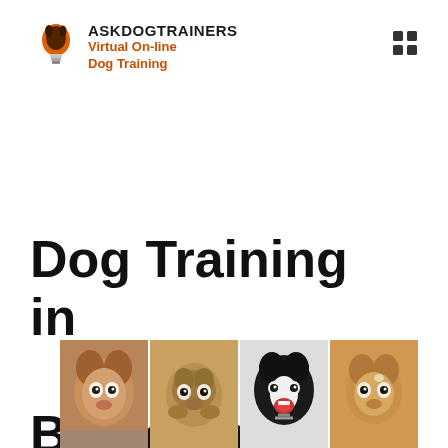[Figure (logo): AskDogTrainers logo with lightbulb/dog silhouette icon in orange and black, text 'ASKDOGTRAINERS' in bold black and tagline 'Virtual On-line Dog Training' in orange bold]
[Figure (other): Four grid squares (2x2) menu icon in dark color, top right corner]
Dog Training in Baytown, Texas.
[Figure (photo): A row of four dog photos: a corgi, a pug, a border collie, and a golden retriever]